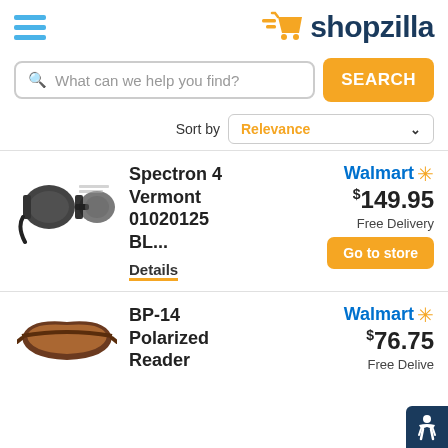shopzilla
What can we help you find?
Sort by Relevance
[Figure (photo): Spectron 4 Vermont sunglasses with side shields, black frame]
Spectron 4 Vermont 01020125 BL...
Details
Walmart $149.95 Free Delivery Go to store
[Figure (photo): BP-14 Polarized Reader sunglasses, brown frame]
BP-14 Polarized Reader
Walmart $76.75 Free Delive...